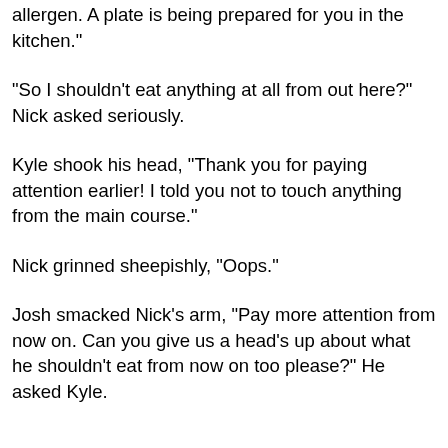allergen. A plate is being prepared for you in the kitchen."
"So I shouldn't eat anything at all from out here?" Nick asked seriously.
Kyle shook his head, "Thank you for paying attention earlier! I told you not to touch anything from the main course."
Nick grinned sheepishly, "Oops."
Josh smacked Nick's arm, "Pay more attention from now on. Can you give us a head's up about what he shouldn't eat from now on too please?" He asked Kyle.